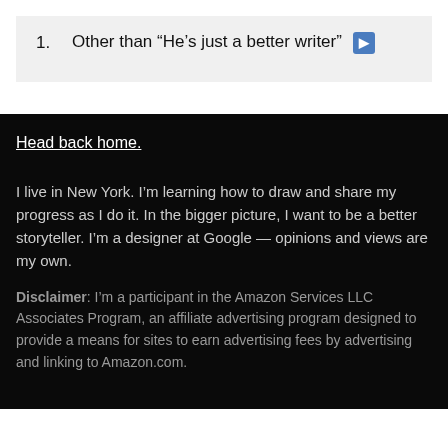1. Other than “He’s just a better writer”
Head back home.
I live in New York. I’m learning how to draw and share my progress as I do it. In the bigger picture, I want to be a better storyteller. I’m a designer at Google — opinions and views are my own.
Disclaimer: I’m a participant in the Amazon Services LLC Associates Program, an affiliate advertising program designed to provide a means for sites to earn advertising fees by advertising and linking to Amazon.com.